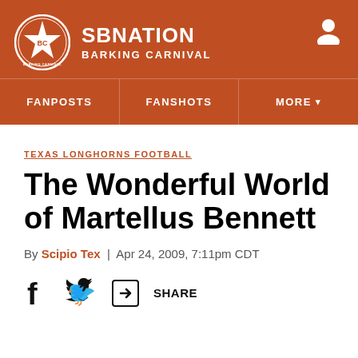[Figure (logo): SB Nation Barking Carnival logo with circular badge containing star and BC letters, site name SBNATION and subtitle BARKING CARNIVAL, user icon top right, on burnt orange background with navigation bar showing FANPOSTS, FANSHOTS, MORE]
TEXAS LONGHORNS FOOTBALL
The Wonderful World of Martellus Bennett
By Scipio Tex | Apr 24, 2009, 7:11pm CDT
[Figure (infographic): Share bar with Facebook icon, Twitter icon, and share icon with SHARE label]